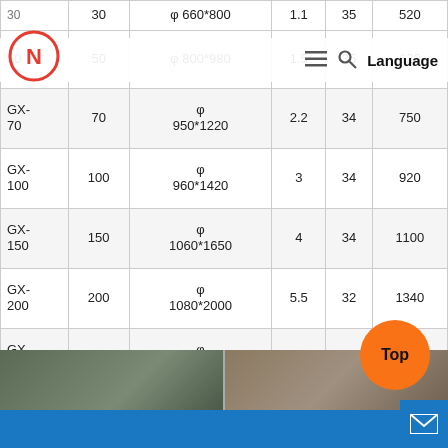| Model | Capacity (t) | Drum Size (mm) | Motor Power (kw) | Speed (r/min) | Weight (kg) |
| --- | --- | --- | --- | --- | --- |
|  | 30 | φ 660*800 | 1.1 | 35 | 520 |
| 50 | 50 | φ 800*980 | 1.5 | 35 | 620 |
| GX-70 | 70 | φ 950*1220 | 2.2 | 34 | 750 |
| GX-100 | 100 | φ 960*1420 | 3 | 34 | 920 |
| GX-150 | 150 | φ 1060*1650 | 4 | 34 | 1100 |
| GX-200 | 200 | φ 1080*2000 | 5.5 | 32 | 1340 |
| GX-250 | 250 | φ 1200*2280 | 7.5 | 29 | 1750 |
| GX-300 | 300 | φ 1300*2280 | 7.5 | 29 | 2100 |
| GX-400 | 400 | φ 1220*3360 | 11 | 29 | 2100 |
[Figure (photo): Bottom strip showing two industrial/factory photos]